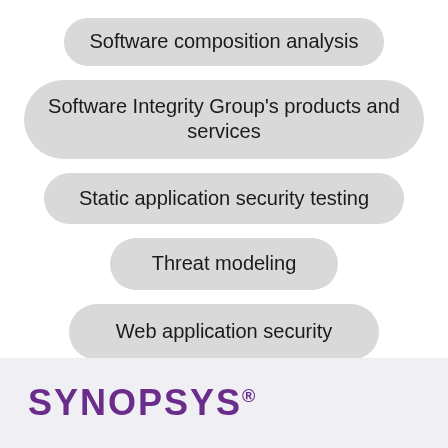Software composition analysis
Software Integrity Group's products and services
Static application security testing
Threat modeling
Web application security
[Figure (logo): Synopsys logo in purple text with registered trademark symbol]